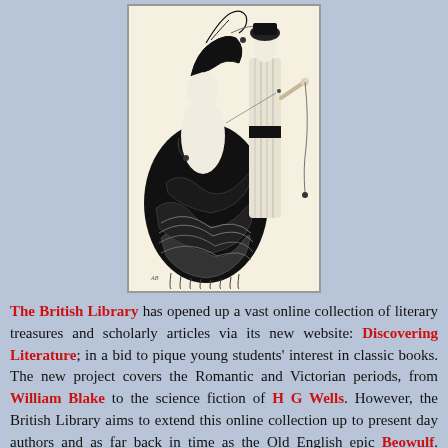[Figure (illustration): Aubrey Beardsley-style Art Nouveau black and white illustration showing two elegantly dressed figures — one with a large ornate black dress with swirling feather/wave patterns, another tall figure in a striped robe — against a cream background with decorative flourishes.]
The British Library has opened up a vast online collection of literary treasures and scholarly articles via its new website: Discovering Literature; in a bid to pique young students' interest in classic books. The new project covers the Romantic and Victorian periods, from William Blake to the science fiction of H G Wells. However, the British Library aims to extend this online collection up to present day authors and as far back in time as the Old English epic Beowulf. Among the artefacts digitalised for the